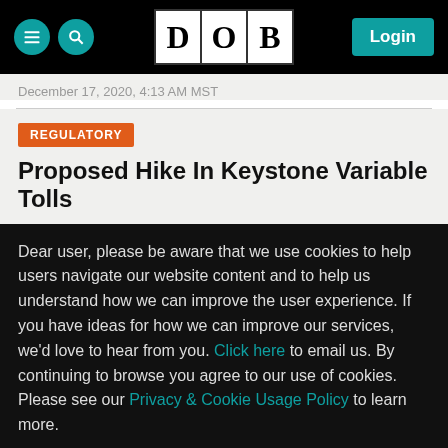DOB — Login
December 17, 2020, 4:13 AM MST
REGULATORY
Proposed Hike In Keystone Variable Tolls
Dear user, please be aware that we use cookies to help users navigate our website content and to help us understand how we can improve the user experience. If you have ideas for how we can improve our services, we'd love to hear from you. Click here to email us. By continuing to browse you agree to our use of cookies. Please see our Privacy & Cookie Usage Policy to learn more.